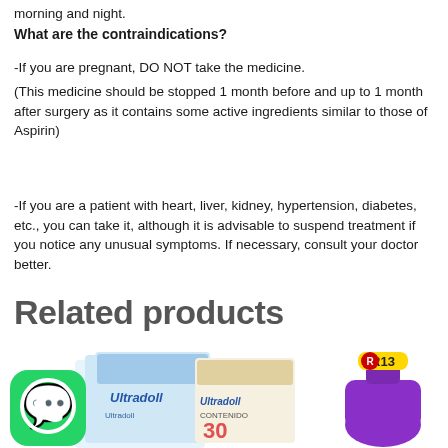morning and night.
What are the contraindications?
-If you are pregnant, DO NOT take the medicine.
(This medicine should be stopped 1 month before and up to 1 month after surgery as it contains some active ingredients similar to those of Aspirin)
-If you are a patient with heart, liver, kidney, hypertension, diabetes, etc., you can take it, although it is advisable to suspend treatment if you notice any unusual symptoms. If necessary, consult your doctor better.
Related products
[Figure (photo): Product images showing Ultradoll medicine boxes, a WhatsApp icon, and an R13 bottle]